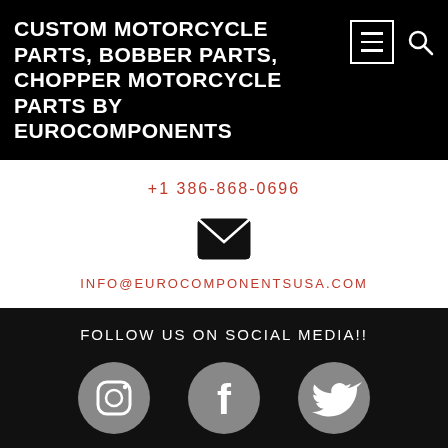CUSTOM MOTORCYCLE PARTS, BOBBER PARTS, CHOPPER MOTORCYCLE PARTS BY EUROCOMPONENTS
+1 386-868-0696
[Figure (illustration): Envelope / email icon]
INFO@EUROCOMPONENTSUSA.COM
FOLLOW US ON SOCIAL MEDIA!!
[Figure (illustration): Social media icons: Instagram, Facebook, Twitter (grey circles)]
ALL CONTENT COPYRIGHT © 1997 - 2021 - EUROCOMPONENTS, INC. - NMRK
0 SHARES
[Figure (illustration): Share buttons: Twitter (blue), Pinterest (red), Facebook (blue), share count 0 SHARES]